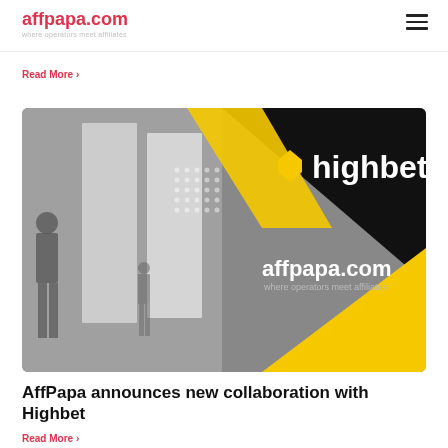affpapa.com — where operators meet affiliates
Read More ›
[Figure (photo): Promotional image showing a black and yellow branded card with highbet logo and affpapa.com branding against a grey blurred background with silhouettes of people walking]
AffPapa announces new collaboration with Highbet
Read More ›